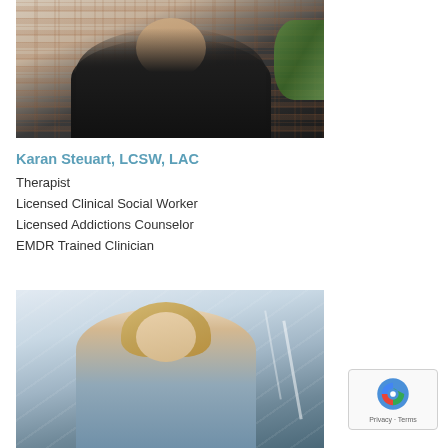[Figure (photo): Professional headshot of a woman with long dark hair wearing a black top, photographed outdoors against a brick wall background]
Karan Steuart, LCSW, LAC
Therapist
Licensed Clinical Social Worker
Licensed Addictions Counselor
EMDR Trained Clinician
[Figure (photo): Professional photo of a young woman with long blonde hair smiling, photographed outdoors on stairs]